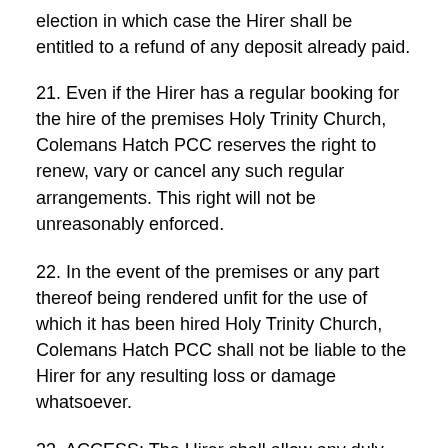election in which case the Hirer shall be entitled to a refund of any deposit already paid.
21. Even if the Hirer has a regular booking for the hire of the premises Holy Trinity Church, Colemans Hatch PCC reserves the right to renew, vary or cancel any such regular arrangements. This right will not be unreasonably enforced.
22. In the event of the premises or any part thereof being rendered unfit for the use of which it has been hired Holy Trinity Church, Colemans Hatch PCC shall not be liable to the Hirer for any resulting loss or damage whatsoever.
23. ACCESS: The Hirer shall allow any duly authorised